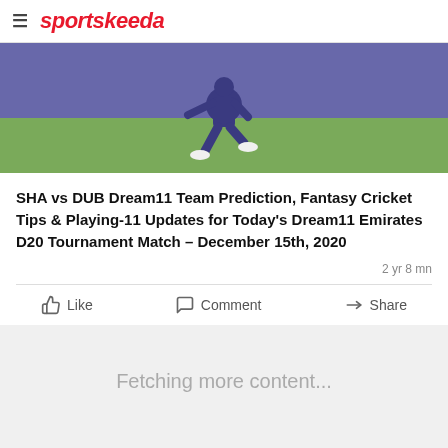sportskeeda
[Figure (photo): Cricket player in purple uniform running/fielding on a green field]
SHA vs DUB Dream11 Team Prediction, Fantasy Cricket Tips & Playing-11 Updates for Today's Dream11 Emirates D20 Tournament Match – December 15th, 2020
2 yr 8 mn
Like   Comment   Share
Fetching more content...